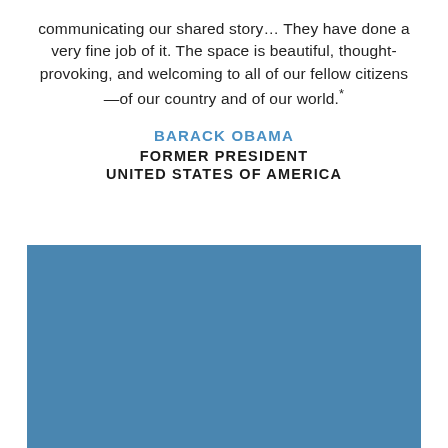communicating our shared story… They have done a very fine job of it. The space is beautiful, thought-provoking, and welcoming to all of our fellow citizens—of our country and of our world.*
BARACK OBAMA
FORMER PRESIDENT
UNITED STATES OF AMERICA
[Figure (photo): A solid blue rectangular image placeholder]